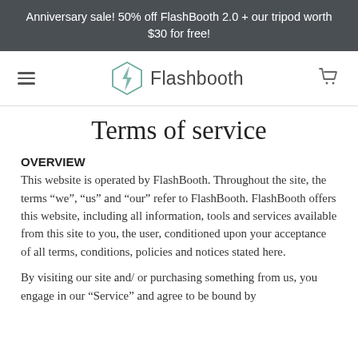Anniversary sale! 50% off FlashBooth 2.0 + our tripod worth $30 for free!
[Figure (logo): Flashbooth logo with geometric lightning bolt diamond icon and text 'Flashbooth']
Terms of service
OVERVIEW
This website is operated by FlashBooth. Throughout the site, the terms “we”, “us” and “our” refer to FlashBooth. FlashBooth offers this website, including all information, tools and services available from this site to you, the user, conditioned upon your acceptance of all terms, conditions, policies and notices stated here.
By visiting our site and/ or purchasing something from us, you engage in our “Service” and agree to be bound by